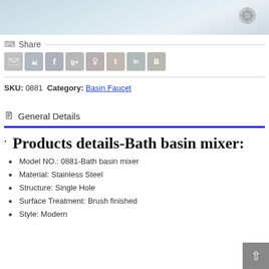[Figure (photo): Top portion of a bathroom basin faucet product photo, showing a white basin with water and a chrome faucet drain detail.]
Share
[Figure (infographic): Row of social sharing icon buttons: email, Twitter, Facebook, Google+, Pinterest, Tumblr, LinkedIn, Blogger]
SKU: 0881  Category: Basin Faucet
General Details
Products details-Bath basin mixer:
Model NO.: 0881-Bath basin mixer
Material: Stainless Steel
Structure: Single Hole
Surface Treatment: Brush finished
Style: Modern